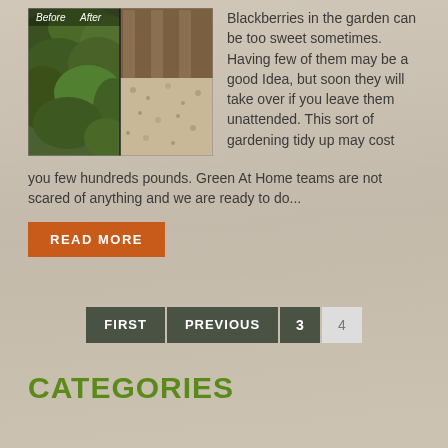[Figure (photo): Before and after photos of blackberry garden clearance — left shows overgrown blackberry bushes, right shows cleared ground with gravel]
Blackberries in the garden can be too sweet sometimes. Having few of them may be a good Idea, but soon they will take over if you leave them unattended. This sort of gardening tidy up may cost you few hundreds pounds. Green At Home teams are not scared of anything and we are ready to do...
READ MORE
FIRST   PREVIOUS   3   4
CATEGORIES